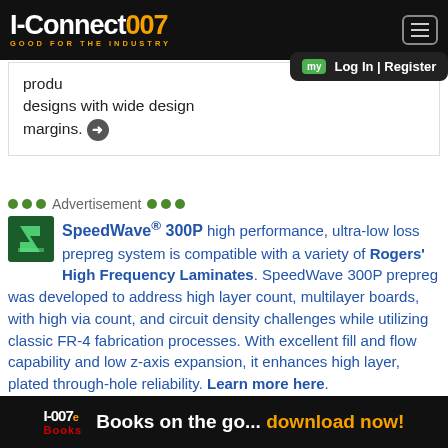I-Connect007 GOOD FOR THE INDUSTRY
products designs with wide design margins. →
my Log In | Register
••• Advertisement •••
SpeedWave® 300P high performance, ultra-low loss prepreg system is compatible with a variety of Rogers' High Frequency Laminates. SpeedWave 300P prepreg was developed to address high layer count, multilayer boards, with high via count, and circuit density challenges while utilizing classic FR-4 fabrication processes. With excellent fill and flow capability and low z-axis expansion, it enhances high layer, plated through-hole reliability. Learn more here.
I-007e Books   Books on the go... download now!